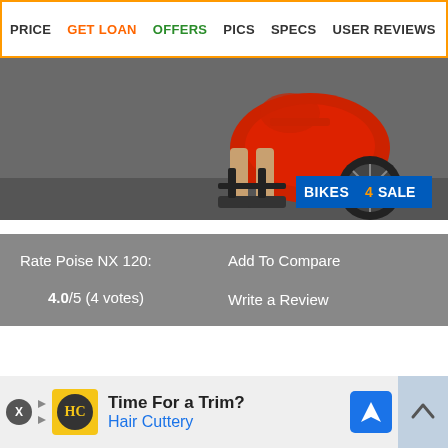PRICE  GET LOAN  OFFERS  PICS  SPECS  USER REVIEWS
[Figure (photo): Motorcycle/scooter banner image showing red bike with a person's legs and sandals visible, and a BIKES 4 SALE badge in the bottom right corner]
Rate Poise NX 120:
4.0/5 (4 votes)
Add To Compare
Write a Review
[Figure (infographic): Advertisement banner at bottom: Time For a Trim? Hair Cuttery - with yellow HC logo and blue navigation icon]